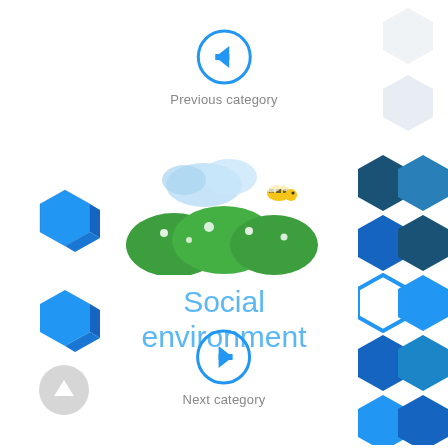[Figure (illustration): Blue circle with left-pointing arrow icon (Previous category navigation button)]
Previous category
[Figure (illustration): Cartoon nature scene with green hills, white flowers, blue sky clouds, and a bee - representing Social environment category]
Social environment
[Figure (illustration): Blue circle with right-pointing arrow icon (Next category navigation button)]
Next category
[Figure (illustration): Blue 3D hexagon shapes on the left side of the page]
[Figure (illustration): Dark and light blue honeycomb hexagon grid pattern on the right side]
[Figure (illustration): Light grey hexagon shapes in top-right corner]
[Figure (illustration): Grey circle with upward arrow (scroll to top button) in bottom-left]